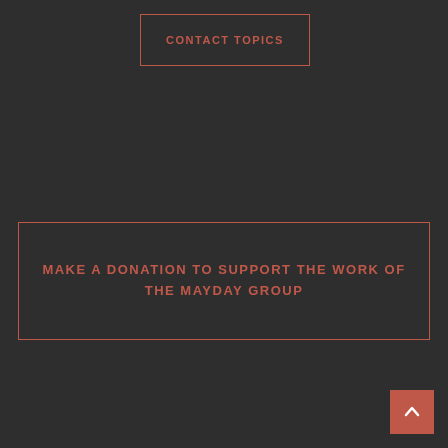CONTACT TOPICS
MAKE A DONATION TO SUPPORT THE WORK OF THE MAYDAY GROUP
[Figure (other): Back to top arrow button (red square with upward chevron)]